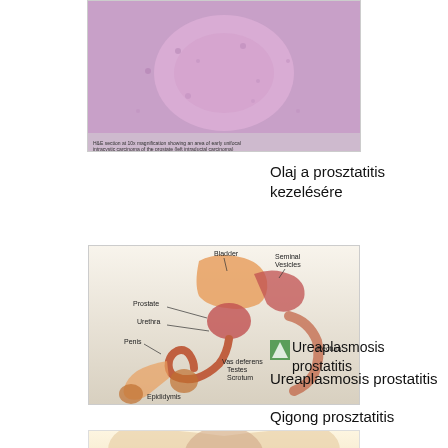[Figure (photo): Histological microscopy image showing prostate tissue stained with H&E, circular/oval structure visible in pink/purple tones]
Olaj a prosztatitis kezelésére
[Figure (illustration): Anatomical diagram of the male reproductive and urinary system showing bladder, prostate, urethra, penis, epididymis, vas deferens, testes, rectum, seminal vesicles with labels]
Qigong prosztatitis
[Figure (illustration): Small green leaf/nature icon thumbnail representing Ureaplasmosis prostatitis]
Ureaplasmosis prostatitis
Ureaplasmosis prostatitis
[Figure (illustration): Cross-sectional anatomical illustration of male pelvic area showing reproductive organs in beige/tan medical illustration style]